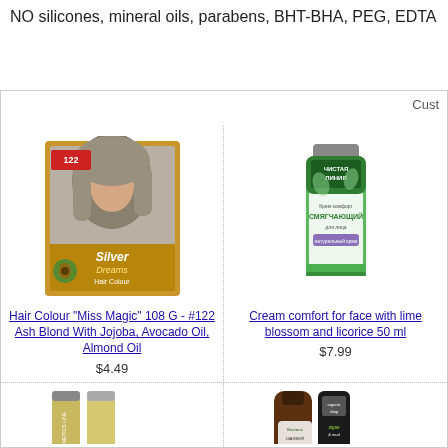NO silicones, mineral oils, parabens, BHT-BHA, PEG, EDTA
Cust
[Figure (photo): Hair Colour Miss Magic product box showing woman with ash blond hair]
Hair Colour "Miss Magic" 108 G - #122 Ash Blond With Jojoba, Avocado Oil, Almond Oil
$4.49
[Figure (photo): Green tube of Chistaya Liniya Cream comfort for face with lime blossom and licorice]
Cream comfort for face with lime blossom and licorice 50 ml
$7.99
[Figure (photo): Partial view of bottom product row - cosmetics products]
[Figure (photo): Partial view of bottom product row - brown bottle and Organic Shop tube]